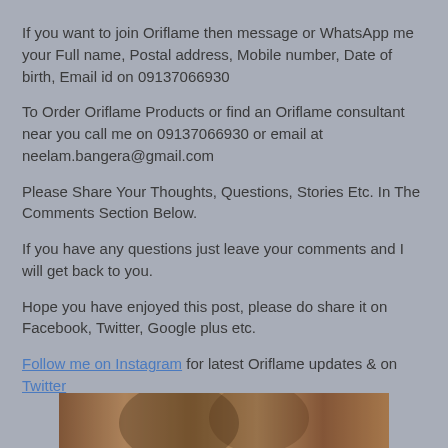If you want to join Oriflame then message or WhatsApp me your Full name, Postal address, Mobile number, Date of birth, Email id on 09137066930
To Order Oriflame Products or find an Oriflame consultant near you call me on 09137066930 or email at neelam.bangera@gmail.com
Please Share Your Thoughts, Questions, Stories Etc. In The Comments Section Below.
If you have any questions just leave your comments and I will get back to you.
Hope you have enjoyed this post, please do share it on Facebook, Twitter, Google plus etc.
Follow me on Instagram for latest Oriflame updates & on Twitter
[Figure (photo): Bottom cropped photo showing partial view of people, warm wood-toned background]